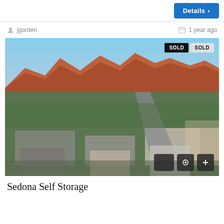Details >
jgorden
1 year ago
[Figure (photo): Aerial drone photograph of Sedona Self Storage property and surrounding neighborhood with red rock formations in the background. Two SOLD badges visible in upper right corner. Camera and plus icons in lower right.]
Sedona Self Storage